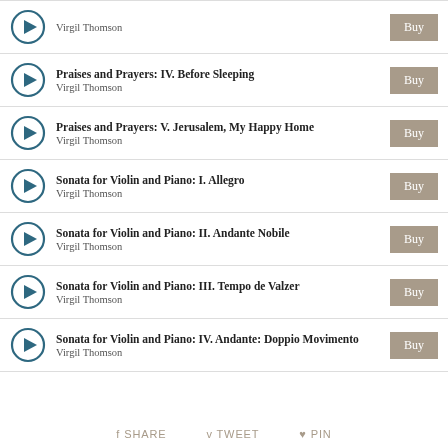Virgil Thomson — Buy
Praises and Prayers: IV. Before Sleeping — Virgil Thomson — Buy
Praises and Prayers: V. Jerusalem, My Happy Home — Virgil Thomson — Buy
Sonata for Violin and Piano: I. Allegro — Virgil Thomson — Buy
Sonata for Violin and Piano: II. Andante Nobile — Virgil Thomson — Buy
Sonata for Violin and Piano: III. Tempo de Valzer — Virgil Thomson — Buy
Sonata for Violin and Piano: IV. Andante: Doppio Movimento — Virgil Thomson — Buy
SHARE   TWEET   PIN